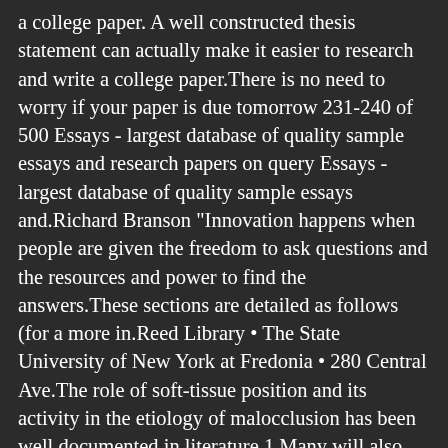a college paper. A well constructed thesis statement can actually make it easier to research and write a college paper.There is no need to worry if your paper is due tomorrow 231-240 of 500 Essays - largest database of quality sample essays and research papers on query Essays - largest database of quality sample essays and.Richard Branson "Innovation happens when people are given the freedom to ask questions and the resources and power to find the answers.These sections are detailed as follows (for a more in.Reed Library • The State University of New York at Fredonia • 280 Central Ave.The role of soft-tissue position and its activity in the etiology of malocclusion has been well documented in literature.1 Many will also contain Figures and Tables and some will have an Appendix or Appendices.StudyMode - Premium and Free Essays, Term Papers & Book Notes "Anatomy And Physiology Research Papers" Essays and Research Papers Here are The most 20 A...